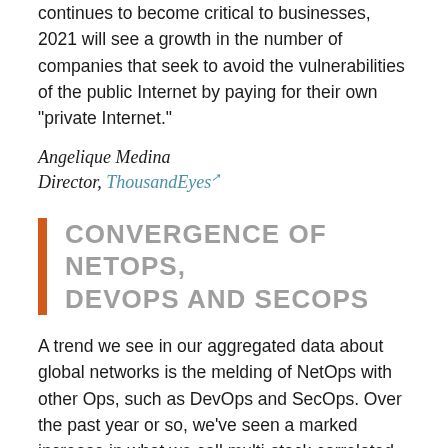continues to become critical to businesses, 2021 will see a growth in the number of companies that seek to avoid the vulnerabilities of the public Internet by paying for their own "private Internet."
Angelique Medina
Director, ThousandEyes
CONVERGENCE OF NETOPS, DEVOPS AND SECOPS
A trend we see in our aggregated data about global networks is the melding of NetOps with other Ops, such as DevOps and SecOps. Over the past year or so, we've seen a marked increase in what we call multi-stack correlated queries in our cloud platform. Network professionals are searching for insights about their network (performance, outages, DDoS attacks, etc.) by looking not just at the network but across the technology stack, from applications to servers to containers to cloud infrastructure to security tools and more. We think this points to the interdependency